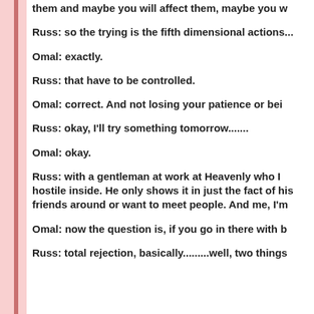them and maybe you will affect them, maybe you w
Russ: so the trying is the fifth dimensional actions...
Omal: exactly.
Russ: that have to be controlled.
Omal: correct. And not losing your patience or bei
Russ: okay, I'll try something tomorrow.......
Omal: okay.
Russ: with a gentleman at work at Heavenly who I hostile inside. He only shows it in just the fact of his friends around or want to meet people. And me, I'm
Omal: now the question is, if you go in there with b
Russ: total rejection, basically.........well, two things